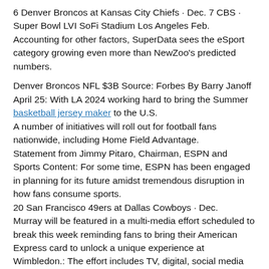6 Denver Broncos at Kansas City Chiefs · Dec. 7 CBS · Super Bowl LVI SoFi Stadium Los Angeles Feb. Accounting for other factors, SuperData sees the eSport category growing even more than NewZoo's predicted numbers.
Denver Broncos NFL $3B Source: Forbes By Barry Janoff April 25: With LA 2024 working hard to bring the Summer basketball jersey maker to the U.S. A number of initiatives will roll out for football fans nationwide, including Home Field Advantage. Statement from Jimmy Pitaro, Chairman, ESPN and Sports Content: For some time, ESPN has been engaged in planning for its future amidst tremendous disruption in how fans consume sports. 20 San Francisco 49ers at Dallas Cowboys · Dec. Murray will be featured in a multi-media effort scheduled to break this week reminding fans to bring their American Express card to unlock a unique experience at Wimbledon.: The effort includes TV, digital, social media and outdoor at key transport hubs for Wimbledon and along routes to the event, such as bus and taxi wraps, The creative falls under American Express' global brand